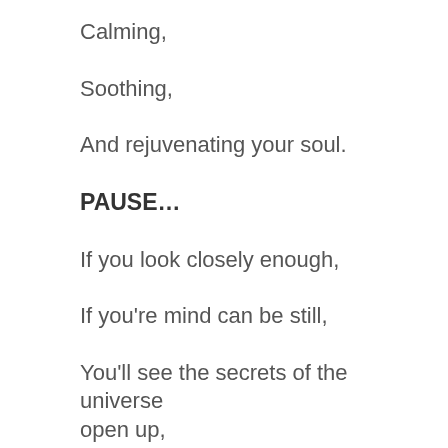Calming,
Soothing,
And rejuvenating your soul.
PAUSE…
If you look closely enough,
If you're mind can be still,
You'll see the secrets of the universe open up,
Like a book slowly opening its cover,
And the words jumping from the